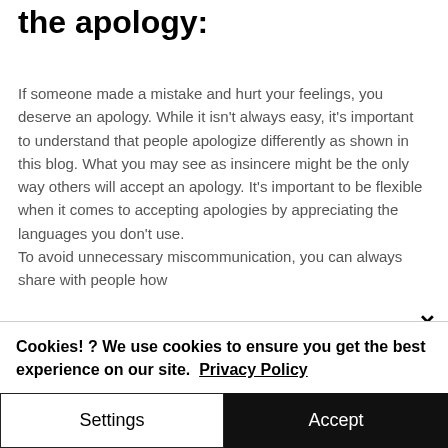the apology:
If someone made a mistake and hurt your feelings, you deserve an apology. While it isn't always easy, it's important to understand that people apologize differently as shown in this blog. What you may see as insincere might be the only way others will accept an apology. It's important to be flexible when it comes to accepting apologies by appreciating the languages you don't use.
To avoid unnecessary miscommunication, you can always share with people how
Cookies! ? We use cookies to ensure you get the best experience on our site.  Privacy Policy
Settings
Accept